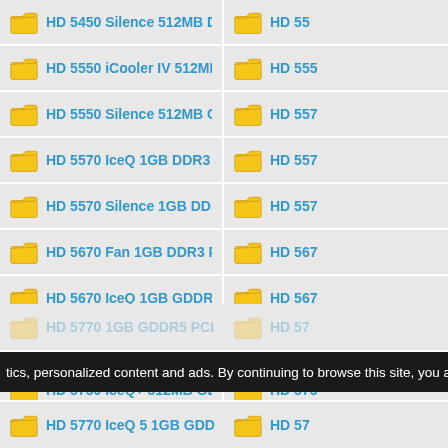HD 5450 Silence 512MB DDR3 PCIe
HD 55...
HD 5550 iCooler IV 512MB GDDR5 PCIe
HD 555...
HD 5550 Silence 512MB GDDR5 PCIe
HD 557...
HD 5570 IceQ 1GB DDR3 PCIe
HD 557...
HD 5570 Silence 1GB DDR3 PCIe
HD 557...
HD 5670 Fan 1GB DDR3 PCIe
HD 567...
HD 5670 IceQ 1GB GDDR5 PCIe
HD 567...
HD 5750 1GB GDDR5 PCIe
HD 575...
HD 5750 IceQ+ 512MB GDDR5 PCIe
HD 575...
HD 5750 iCooler IV 1GB GDDR5 PCIe
HD 575...
tics, personalized content and ads. By continuing to browse this site, you agre
HD 5770 IceQ 5 1GB GDDR5 PCIe
HD 57...